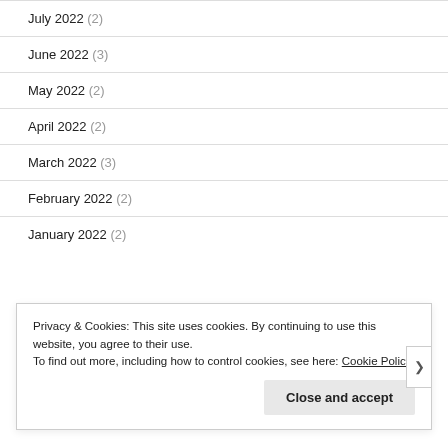July 2022 (2)
June 2022 (3)
May 2022 (2)
April 2022 (2)
March 2022 (3)
February 2022 (2)
January 2022 (2)
Privacy & Cookies: This site uses cookies. By continuing to use this website, you agree to their use. To find out more, including how to control cookies, see here: Cookie Policy
Close and accept